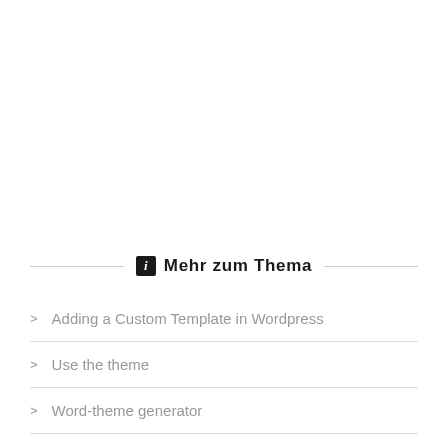Mehr zum Thema
Adding a Custom Template in Wordpress
Use the theme
Word-theme generator
Devi Elegant themes Examples for examples
Freeware Page Builder
The Avada theme footer